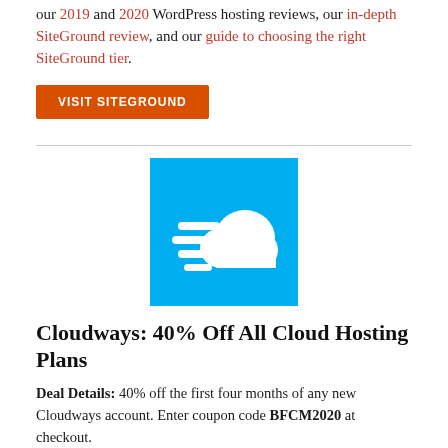our 2019 and 2020 WordPress hosting reviews, our in-depth SiteGround review, and our guide to choosing the right SiteGround tier.
VISIT SITEGROUND
[Figure (logo): Cloudways logo: cyan/sky-blue square background with a white cloud and three speed lines to the left suggesting fast speed.]
Cloudways: 40% Off All Cloud Hosting Plans
Deal Details: 40% off the first four months of any new Cloudways account. Enter coupon code BFCM2020 at checkout.
Deal will run through Monday, November 30.